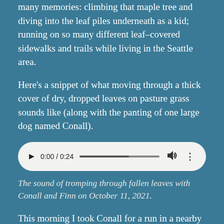many memories: climbing that maple tree and diving into the leaf piles underneath as a kid; running on so many different leaf-covered sidewalks and trails while living in the Seattle area.
Here's a snippet of what moving through a thick cover of dry, dropped leaves on pasture grass sounds like (along with the panting of one large dog named Conall).
[Figure (other): Audio player widget showing 0:00 / 0:24 with play button, progress bar, volume and more icons]
The sound of tromping through fallen leaves with Conall and Finn on October 11, 2021.
This morning I took Conall for a run in a nearby state